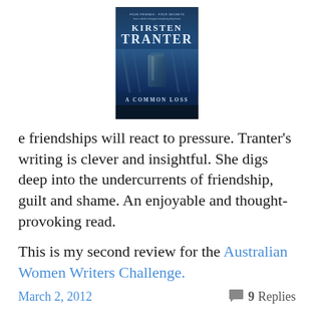[Figure (illustration): Book cover of 'A Common Loss' by Kirsten Tranter. Dark blue cover with author name in large white serif text at top, subtitle text above, 'A Common Loss' title in smaller caps in middle, and a glass/drinks image in the center.]
e friendships will react to pressure. Tranter's writing is clever and insightful. She digs deep into the undercurrents of friendship, guilt and shame. An enjoyable and thought-provoking read.
This is my second review for the Australian Women Writers Challenge.
March 2, 2012    9 Replies